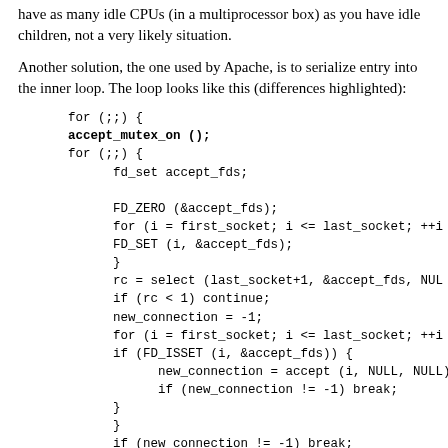have as many idle CPUs (in a multiprocessor box) as you have idle children, not a very likely situation.
Another solution, the one used by Apache, is to serialize entry into the inner loop. The loop looks like this (differences highlighted):
for (;;) {
accept_mutex_on ();
for (;;) {
    fd_set accept_fds;

    FD_ZERO (&accept_fds);
    for (i = first_socket; i <= last_socket; ++i)
    FD_SET (i, &accept_fds);
    }
    rc = select (last_socket+1, &accept_fds, NULL
    if (rc < 1) continue;
    new_connection = -1;
    for (i = first_socket; i <= last_socket; ++i)
    if (FD_ISSET (i, &accept_fds)) {
        new_connection = accept (i, NULL, NULL)
        if (new_connection != -1) break;
    }
    }
    if (new_connection != -1) break;
}
accept_mutex_off ();
process the new_connection;
}